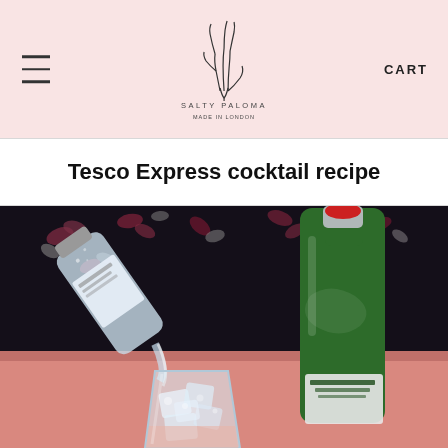SALTY PALOMA — navigation header with hamburger menu, logo, and CART
Tesco Express cocktail recipe
[Figure (photo): Photo of a glass filled with ice being poured from a small sparkling water bottle, next to a green Tanqueray gin bottle with a red wax seal, set on a pink surface with a dark floral background.]